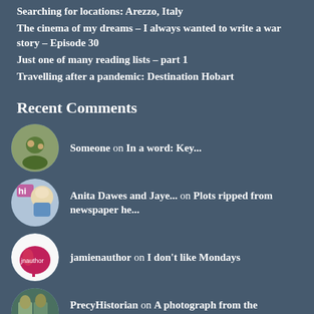Searching for locations: Arezzo, Italy
The cinema of my dreams – I always wanted to write a war story – Episode 30
Just one of many reading lists – part 1
Travelling after a pandemic: Destination Hobart
Recent Comments
Someone on In a word: Key...
Anita Dawes and Jaye... on Plots ripped from newspaper he...
jamienauthor on I don't like Mondays
PrecyHistorian on A photograph from the inspirat...
threewintryfriends on The cinema of my